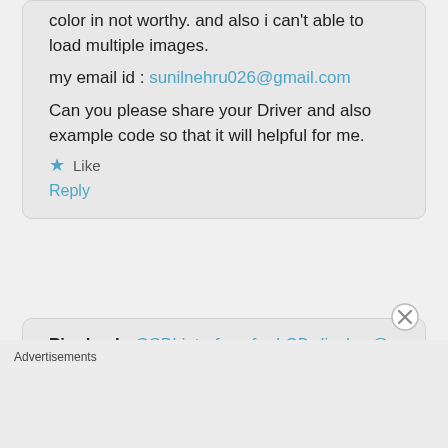color in not worthy. and also i can't able to load multiple images.
my email id : sunilnehru026@gmail.com
Can you please share your Driver and also example code so that it will helpful for me.
★ Like
Reply
Pingback: QSPI interface for LCD display @ nRF52 series – Jimmy's thing
Advertisements